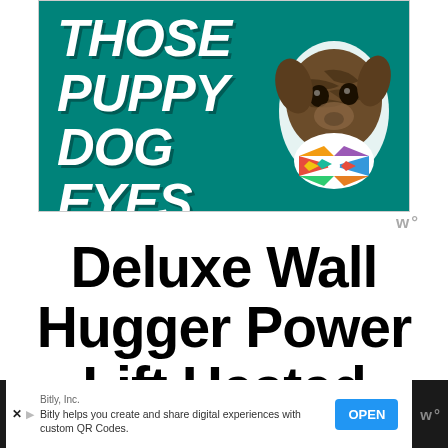[Figure (illustration): Advertisement banner with teal background showing bold white italic text reading 'THOSE PUPPY DOG EYES' and a brindle dog wearing a colorful geometric bow tie]
Deluxe Wall Hugger Power Lift Heated Vibrating Massage Recliner
[Figure (infographic): Bottom advertisement bar from Bitly, Inc. with text 'Bitly helps you create and share digital experiences with custom QR Codes.' and an OPEN button, plus a Walmart-style W logo]